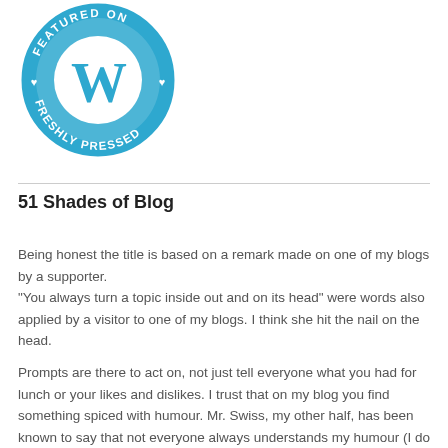[Figure (logo): WordPress 'Featured on Freshly Pressed' circular badge logo in blue and white]
51 Shades of Blog
Being honest the title is based on a remark made on one of my blogs by a supporter.
"You always turn a topic inside out and on its head" were words also applied by a visitor to one of my blogs. I think she hit the nail on the head.

Prompts are there to act on, not just tell everyone what you had for lunch or your likes and dislikes. I trust that on my blog you find something spiced with humour. Mr. Swiss, my other half, has been known to say that not everyone always understands my humour (I do not always understand his).